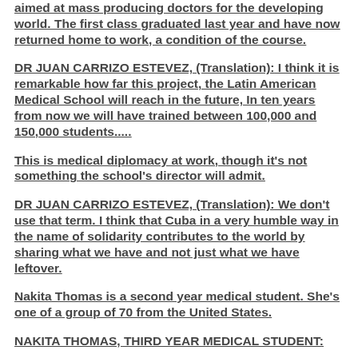aimed at mass producing doctors for the developing world. The first class graduated last year and have now returned home to work, a condition of the course.
DR JUAN CARRIZO ESTEVEZ, (Translation): I think it is remarkable how far this project, the Latin American Medical School will reach in the future, In ten years from now we will have trained between 100,000 and 150,000 students.....
This is medical diplomacy at work, though it's not something the school's director will admit.
DR JUAN CARRIZO ESTEVEZ, (Translation): We don't use that term. I think that Cuba in a very humble way in the name of solidarity contributes to the world by sharing what we have and not just what we have leftover.
Nakita Thomas is a second year medical student. She's one of a group of 70 from the United States.
NAKITA THOMAS, THIRD YEAR MEDICAL STUDENT: